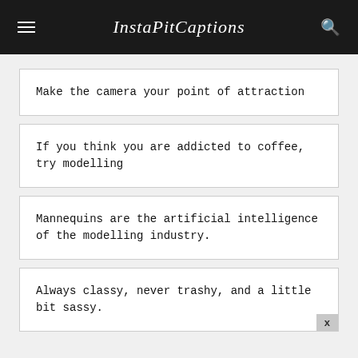InstaPitCaptions
Make the camera your point of attraction
If you think you are addicted to coffee, try modelling
Mannequins are the artificial intelligence of the modelling industry.
Always classy, never trashy, and a little bit sassy.